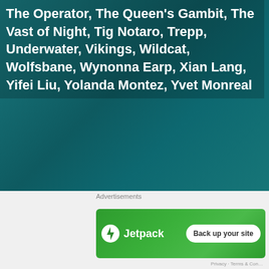[Figure (photo): Teal/dark cyan textured background filling the upper portion of the page]
The Operator, The Queen's Gambit, The Vast of Night, Tig Notaro, Trepp, Underwater, Vikings, Wildcat, Wolfsbane, Wynonna Earp, Xian Lang, Yifei Liu, Yolanda Montez, Yvet Monreal
Advertisements
[Figure (logo): Jetpack advertisement banner with green background, Jetpack logo with lightning bolt icon, and 'Back up your site' button]